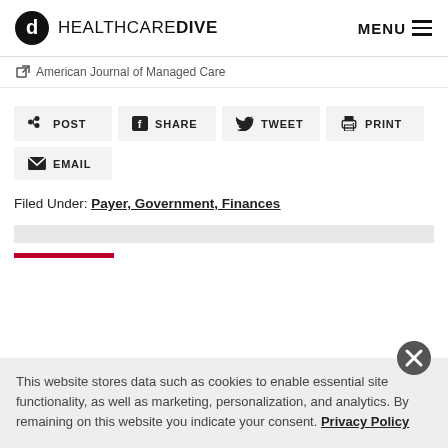HEALTHCARE DIVE   MENU
American Journal of Managed Care
[Figure (other): Social share buttons: POST (LinkedIn), SHARE (Facebook), TWEET (Twitter), PRINT, EMAIL]
Filed Under: Payer, Government, Finances
This website stores data such as cookies to enable essential site functionality, as well as marketing, personalization, and analytics. By remaining on this website you indicate your consent. Privacy Policy